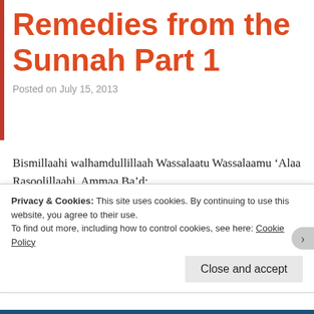Remedies from the Sunnah Part 1
Posted on July 15, 2013
Bismillaahi walhamdullillaah Wassalaatu Wassalaamu ‘Alaa Rasoolillaahi, Ammaa Ba’d:
Yesterday I attended a workshop run by our beloved sister Umm Sara who runs the website Health means Wealth. The workshop consisted of cures for diseases as mentioned in the Qur’aan and Sunnah as well as scientific research and evidence from many health experts around the world and others.
Privacy & Cookies: This site uses cookies. By continuing to use this website, you agree to their use.
To find out more, including how to control cookies, see here: Cookie Policy
Close and accept